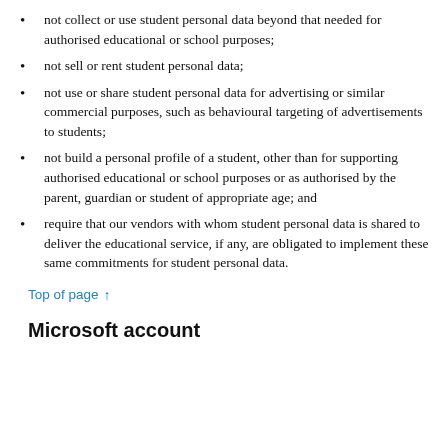not collect or use student personal data beyond that needed for authorised educational or school purposes;
not sell or rent student personal data;
not use or share student personal data for advertising or similar commercial purposes, such as behavioural targeting of advertisements to students;
not build a personal profile of a student, other than for supporting authorised educational or school purposes or as authorised by the parent, guardian or student of appropriate age; and
require that our vendors with whom student personal data is shared to deliver the educational service, if any, are obligated to implement these same commitments for student personal data.
Top of page ↑
Microsoft account